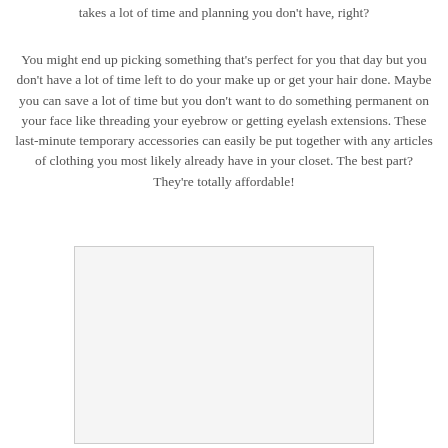takes a lot of time and planning you don't have, right?
You might end up picking something that's perfect for you that day but you don't have a lot of time left to do your make up or get your hair done. Maybe you can save a lot of time but you don't want to do something permanent on your face like threading your eyebrow or getting eyelash extensions. These last-minute temporary accessories can easily be put together with any articles of clothing you most likely already have in your closet. The best part? They're totally affordable!
[Figure (photo): A rectangular placeholder image box with light gray background and thin border]